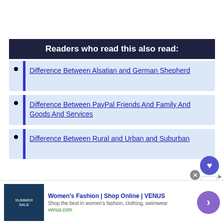Readers who read this also read:
Difference Between Alsatian and German Shepherd
Difference Between PayPal Friends And Family And Goods And Services
Difference Between Rural and Urban and Suburban
Women's Fashion | Shop Online | VENUS
Shop the best in women's fashion, clothing, swimwear
venus.com